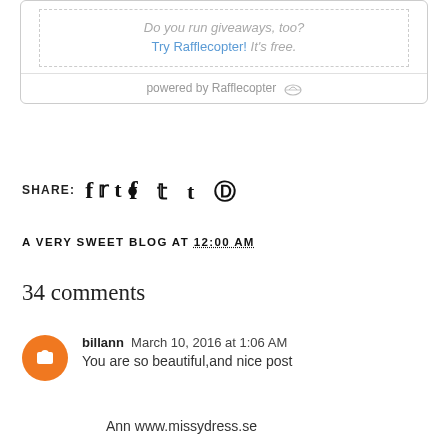[Figure (screenshot): Rafflecopter widget footer showing 'Do you run giveaways, too? Try Rafflecopter! It's free.' with dotted border, and 'powered by Rafflecopter' at bottom]
SHARE: (facebook, twitter, tumblr, pinterest icons)
A VERY SWEET BLOG AT 12:00 AM
34 comments
billann  March 10, 2016 at 1:06 AM
You are so beautiful,and nice post
Ann www.missydress.se